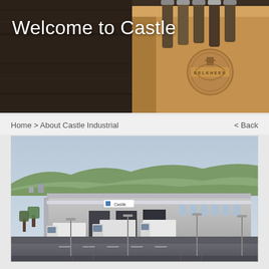[Figure (photo): Hero banner showing beer bottles in a cardboard carrier box with a beer brand logo, on a dark wooden background. White text overlay reads 'Welcome to Castle']
Welcome to Castle
Home > About Castle Industrial   < Back
[Figure (photo): Aerial/elevated photograph of a large industrial warehouse facility with 'Castle' signage on the facade, multiple trucks and lorries at loading bays, parking lot with light poles, surrounded by green hills in the background]